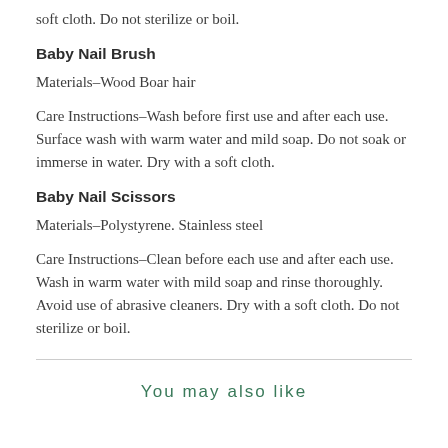soft cloth. Do not sterilize or boil.
Baby Nail Brush
Materials–Wood Boar hair
Care Instructions–Wash before first use and after each use. Surface wash with warm water and mild soap. Do not soak or immerse in water. Dry with a soft cloth.
Baby Nail Scissors
Materials–Polystyrene. Stainless steel
Care Instructions–Clean before each use and after each use. Wash in warm water with mild soap and rinse thoroughly. Avoid use of abrasive cleaners. Dry with a soft cloth. Do not sterilize or boil.
You may also like